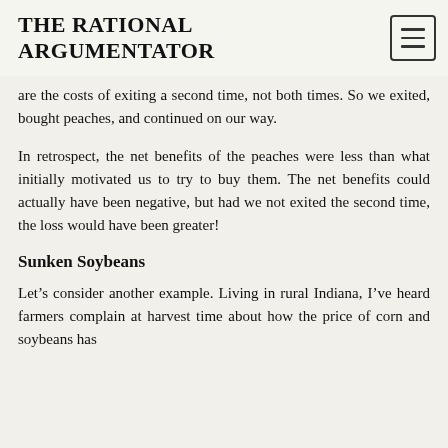THE RATIONAL ARGUMENTATOR
are the costs of exiting a second time, not both times. So we exited, bought peaches, and continued on our way.
In retrospect, the net benefits of the peaches were less than what initially motivated us to try to buy them. The net benefits could actually have been negative, but had we not exited the second time, the loss would have been greater!
Sunken Soybeans
Let’s consider another example. Living in rural Indiana, I’ve heard farmers complain at harvest time about how the price of corn and soybeans has fallen...